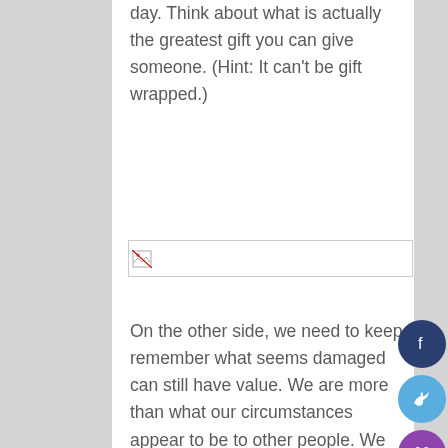day. Think about what is actually the greatest gift you can give someone. (Hint: It can't be gift wrapped.)
[Figure (photo): Broken image placeholder with small image icon in top-left corner]
On the other side, we need to keep remember what seems damaged can still have value. We are more than what our circumstances appear to be to other people. We need to see